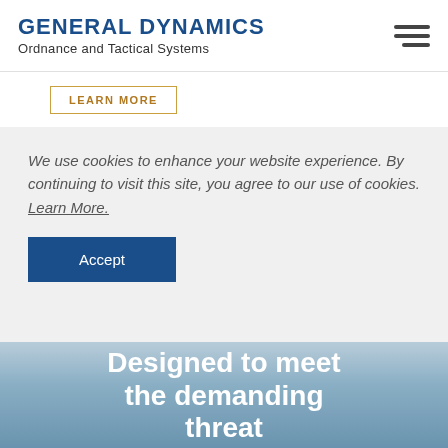[Figure (logo): General Dynamics Ordnance and Tactical Systems logo with hamburger menu icon]
LEARN MORE
We use cookies to enhance your website experience. By continuing to visit this site, you agree to our use of cookies. Learn More.
Accept
Designed to meet the demanding threat identification and